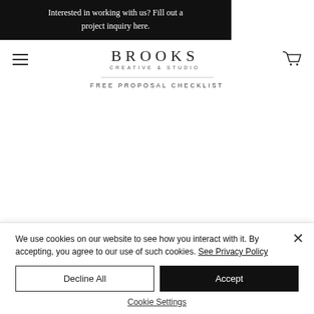Interested in working with us? Fill out a project inquiry here.
[Figure (logo): Brooks Creative Studio logo with hamburger menu and shopping cart icon]
FREE PROPOSAL CHECKLIST
We use cookies on our website to see how you interact with it. By accepting, you agree to our use of such cookies. See Privacy Policy
Decline All
Accept
Cookie Settings